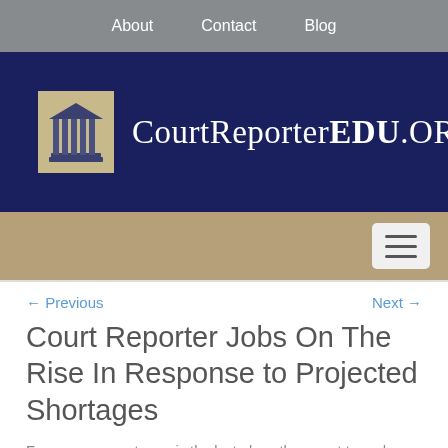About   Contact   Blog
[Figure (logo): CourtReporterEDU.ORG logo with building/columns icon on dark navy background]
[Figure (other): Hamburger menu button on tan background bar]
← Previous
Next →
Court Reporter Jobs On The Rise In Response to Projected Shortages
For many, a courtroom is the last place they want to end up. Fear of unpaid parking tickets and intimidating judges keeps many people from this world. But...